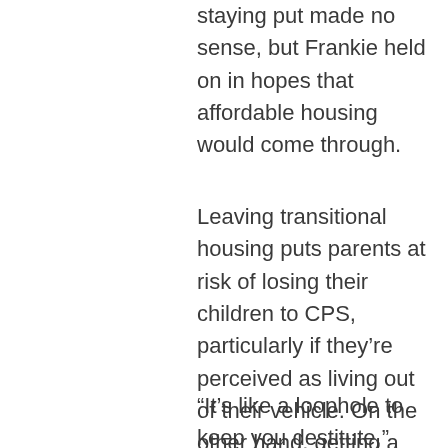staying put made no sense, but Frankie held on in hopes that affordable housing would come through.
Leaving transitional housing puts parents at risk of losing their children to CPS, particularly if they’re perceived as living out of their vehicle. On the other hand, getting a higher-paying job disqualifies them from further government and charitable support.
“It’s like a loophole to keep you destitute,” Frankie says.